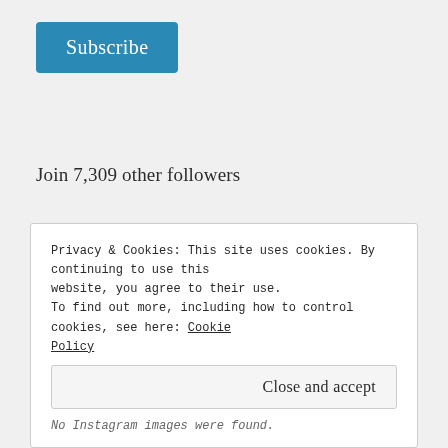Subscribe
Join 7,309 other followers
archive
Privacy & Cookies: This site uses cookies. By continuing to use this website, you agree to their use.
To find out more, including how to control cookies, see here: Cookie Policy
Close and accept
No Instagram images were found.